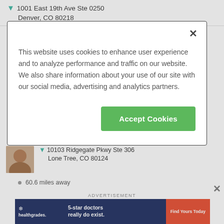1001 East 19th Ave Ste 0250
Denver, CO 80218
[Figure (screenshot): Cookie consent modal dialog with text about website cookies and an Accept Cookies button]
10103 Ridgegate Pkwy Ste 306
Lone Tree, CO 80124
60.6 miles away
ADVERTISEMENT
[Figure (photo): Healthgrades advertisement banner showing a doctor with text '5-star doctors really do exist.' and 'Find Yours Today' button]